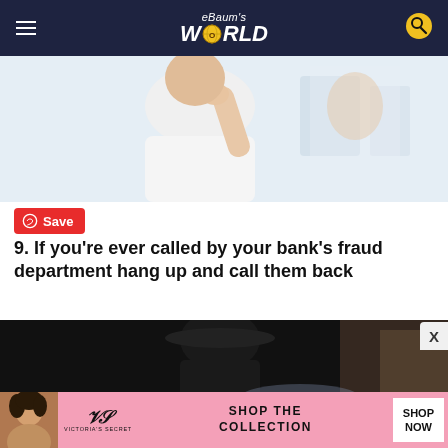eBaum's WORLD
[Figure (photo): Person in white t-shirt touching their face, bathroom setting, blurred background]
Save
9. If you're ever called by your bank's fraud department hang up and call them back
[Figure (photo): Dark image, person wearing dark clothing/hat, moody lighting]
[Figure (photo): Victoria's Secret advertisement banner: SHOP THE COLLECTION, SHOP NOW]